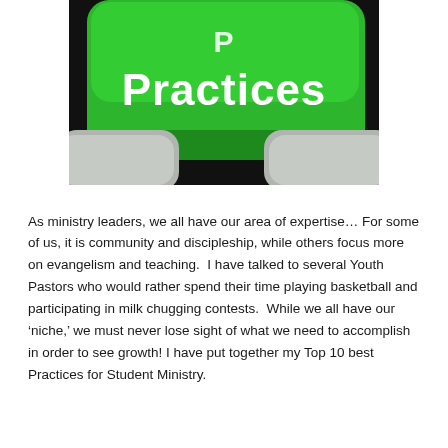[Figure (photo): Close-up photo of a green computer keyboard key with the word 'Practices' written in white text, with adjacent grey keys visible in the lower portion.]
As ministry leaders, we all have our area of expertise… For some of us, it is community and discipleship, while others focus more on evangelism and teaching.  I have talked to several Youth Pastors who would rather spend their time playing basketball and participating in milk chugging contests.  While we all have our 'niche,' we must never lose sight of what we need to accomplish in order to see growth! I have put together my Top 10 best Practices for Student Ministry.